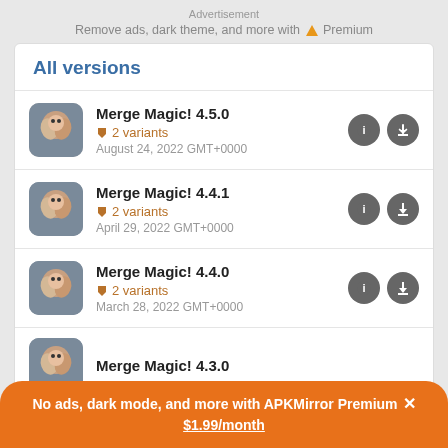Advertisement
Remove ads, dark theme, and more with Premium
All versions
Merge Magic! 4.5.0 · 2 variants · August 24, 2022 GMT+0000
Merge Magic! 4.4.1 · 2 variants · April 29, 2022 GMT+0000
Merge Magic! 4.4.0 · 2 variants · March 28, 2022 GMT+0000
Merge Magic! 4.3.0
No ads, dark mode, and more with APKMirror Premium × $1.99/month